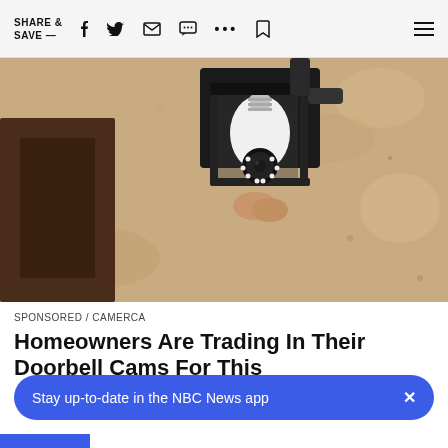SHARE & SAVE —
[Figure (photo): A white security camera shaped like a light bulb installed inside a black metal lantern wall fixture mounted on a textured stucco wall]
SPONSORED / CAMERCA
Homeowners Are Trading In Their Doorbell Cams For This
Stay up-to-date in the NBC News app  ×